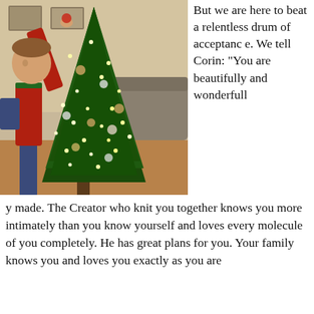[Figure (photo): A boy in red and blue Christmas pajamas reaching up to place an ornament on a brightly lit Christmas tree with many ornaments, in a home living room setting.]
But we are here to beat a relentless drum of acceptance. We tell Corin: “You are beautifully and wonderfully made. The Creator who knit you together knows you more intimately than you know yourself and loves every molecule of you completely. He has great plans for you. Your family knows you and loves you exactly as you are
y made. The Creator who knit you together knows you more intimately than you know yourself and loves every molecule of you completely. He has great plans for you. Your family knows you and loves you exactly as you are